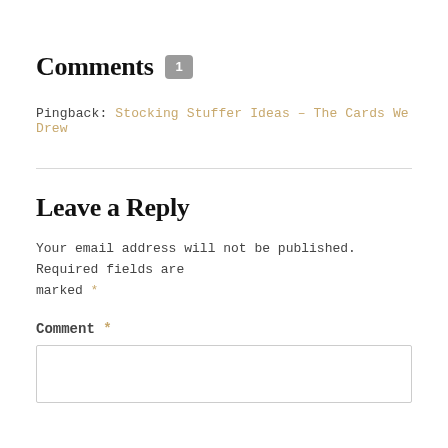Comments 1
Pingback: Stocking Stuffer Ideas - The Cards We Drew
Leave a Reply
Your email address will not be published. Required fields are marked *
Comment *